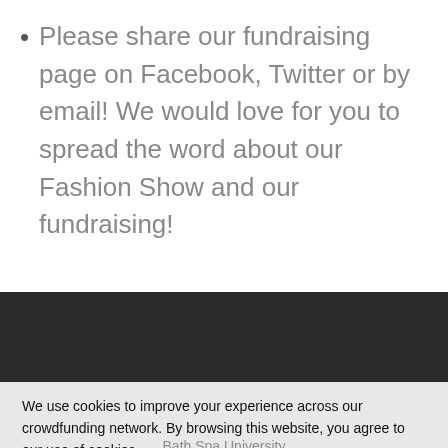Please share our fundraising page on Facebook, Twitter or by email! We would love for you to spread the word about our Fashion Show and our fundraising!
[Figure (screenshot): Dark navigation bar section of a crowdfunding website]
We use cookies to improve your experience across our crowdfunding network. By browsing this website, you agree to our use of cookies.
Bath Spa University
Bath Spa Alumni
Sup
Ok. Don't show this again.